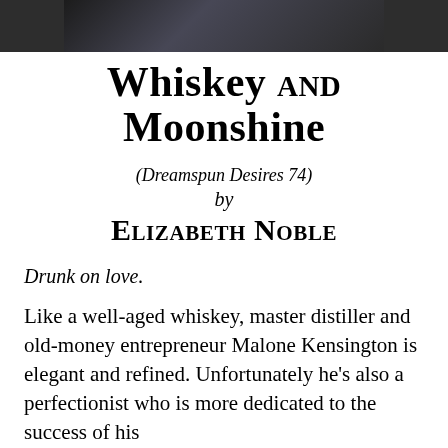[Figure (photo): Dark-toned photo strip at top of page, partially cropped, showing a person in denim/dark clothing]
Whiskey and Moonshine
(Dreamspun Desires 74)
by
Elizabeth Noble
Drunk on love.
Like a well-aged whiskey, master distiller and old-money entrepreneur Malone Kensington is elegant and refined. Unfortunately he's also a perfectionist who is more dedicated to the success of his